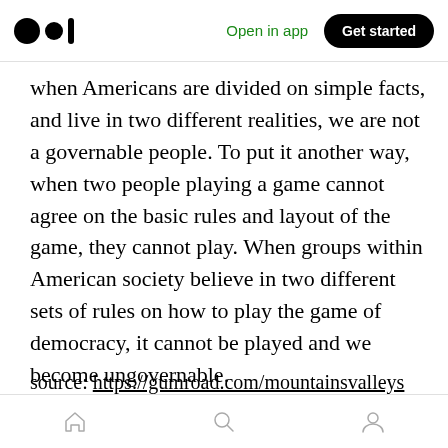Medium app header with logo, Open in app, Get started
when Americans are divided on simple facts, and live in two different realities, we are not a governable people. To put it another way, when two people playing a game cannot agree on the basic rules and layout of the game, they cannot play. When groups within American society believe in two different sets of rules on how to play the game of democracy, it cannot be played and we become ungovernable.
source: https://gumroad.com/mountainsvalleys
Bottom navigation bar with home, search, and profile icons